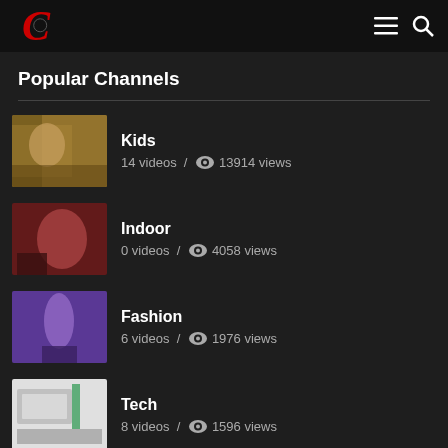C [logo] [menu icon] [search icon]
Popular Channels
Kids — 14 videos / 13914 views
Indoor — 0 videos / 4058 views
Fashion — 6 videos / 1976 views
Tech — 8 videos / 1596 views
Sports